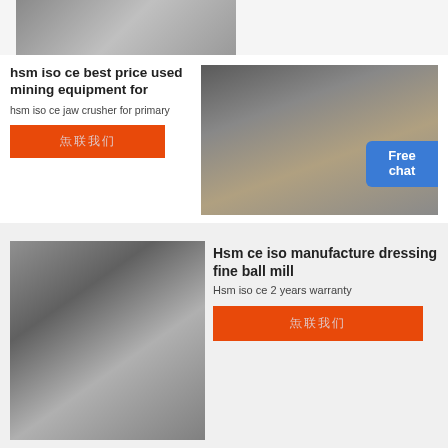[Figure (photo): Industrial machinery on wooden pallets in a warehouse, partially visible at top of page]
hsm iso ce best price used mining equipment for
hsm iso ce jaw crusher for primary
联系我们
[Figure (photo): Mining equipment components (large metal screens/panels) laid out in a factory warehouse; woman in white coat visible at right; 'Free chat' badge overlay]
[Figure (photo): Large industrial impact crusher machine in a factory with glass-windowed walls]
Hsm ce iso manufacture dressing fine ball mill
Hsm iso ce 2 years warranty
联系我们